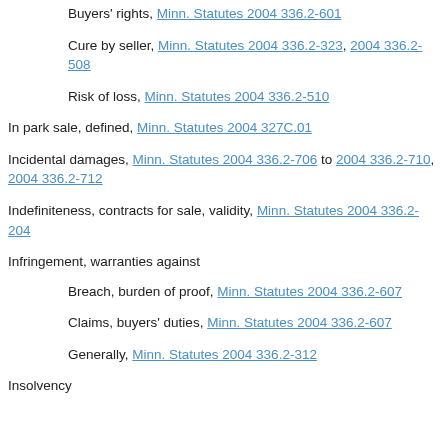Buyers' rights, Minn. Statutes 2004 336.2-601
Cure by seller, Minn. Statutes 2004 336.2-323, 2004 336.2-508
Risk of loss, Minn. Statutes 2004 336.2-510
In park sale, defined, Minn. Statutes 2004 327C.01
Incidental damages, Minn. Statutes 2004 336.2-706 to 2004 336.2-710, 2004 336.2-712
Indefiniteness, contracts for sale, validity, Minn. Statutes 2004 336.2-204
Infringement, warranties against
Breach, burden of proof, Minn. Statutes 2004 336.2-607
Claims, buyers' duties, Minn. Statutes 2004 336.2-607
Generally, Minn. Statutes 2004 336.2-312
Insolvency